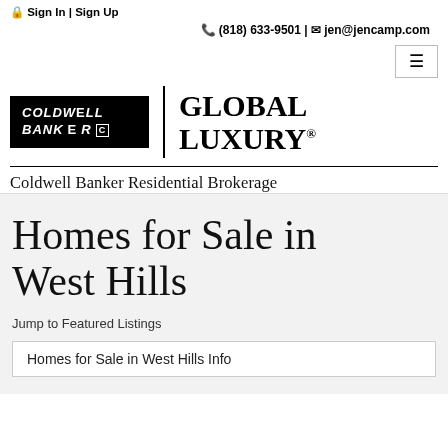🔒 Sign In | Sign Up
📞 (818) 633-9501 | ✉ jen@jencamp.com
[Figure (logo): Coldwell Banker Global Luxury logo with Coldwell Banker Residential Brokerage text]
Homes for Sale in West Hills
Jump to Featured Listings
Homes for Sale in West Hills Info